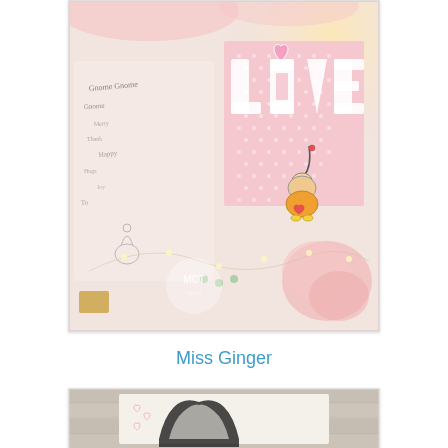[Figure (photo): Valentine craft photo showing a pink dotted fabric square with 'LOVE' letters and a gnome holding a heart, surrounded by fairy lights, pink flowers, and stamps on white surface. MCT watermark visible.]
Miss Ginger
[Figure (photo): Craft project photo showing a decorative piece on a whitewashed wood background with heart motifs and metallic/textured elements.]